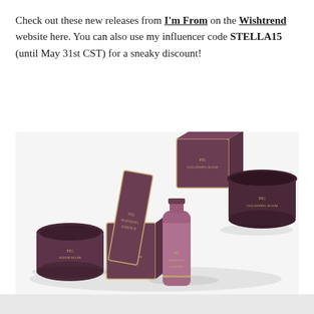Check out these new releases from I'm From on the Wishtrend website here. You can also use my influencer code STELLA15 (until May 31st CST) for a sneaky discount!
[Figure (photo): Flat lay photo of I'm From skincare products in dark purple/mauve packaging on a white surface. Products include Fig Cleansing Balm (box and jar), Fig Boosting Essence (box and bottle), and Fig Scrub Mask (jar and box).]